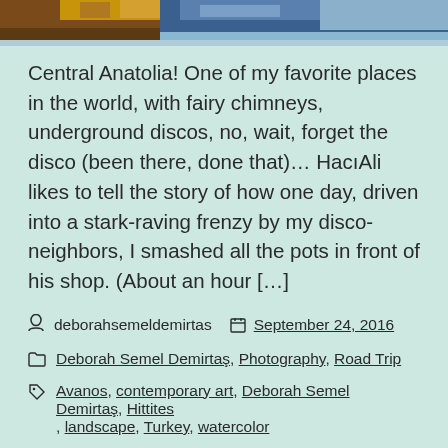[Figure (photo): Partial view of photo strip showing pottery/ceramic objects and blue background at top of page]
Central Anatolia! One of my favorite places in the world, with fairy chimneys, underground discos, no, wait, forget the disco (been there, done that)… HacıAli likes to tell the story of how one day, driven into a stark-raving frenzy by my disco-neighbors, I smashed all the pots in front of his shop. (About an hour […]
deborahsemeldemirtas   September 24, 2016
Deborah Semel Demirtaş, Photography, Road Trip
Avanos, contemporary art, Deborah Semel Demirtaş, Hittites, landscape, Turkey, watercolor